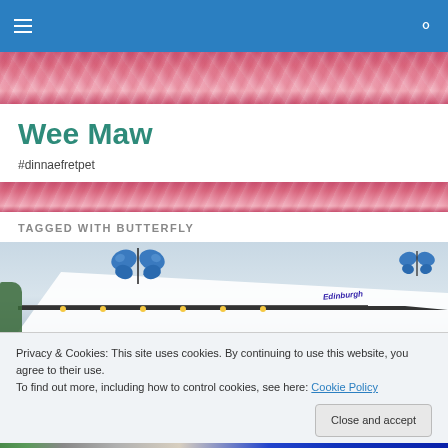Navigation bar with hamburger menu and search icon
[Figure (photo): Pink feather texture header image]
Wee Maw
#dinnaefretpet
[Figure (photo): Pink feather texture divider]
TAGGED WITH BUTTERFLY
[Figure (photo): Photo of a fairground or market stall roof with large blue butterfly decorations and string lights, with Edinburgh signage visible]
Privacy & Cookies: This site uses cookies. By continuing to use this website, you agree to their use.
To find out more, including how to control cookies, see here: Cookie Policy
[Figure (photo): Bottom strip showing another photo with trees, a street scene, and partial text reading 'physio here!']